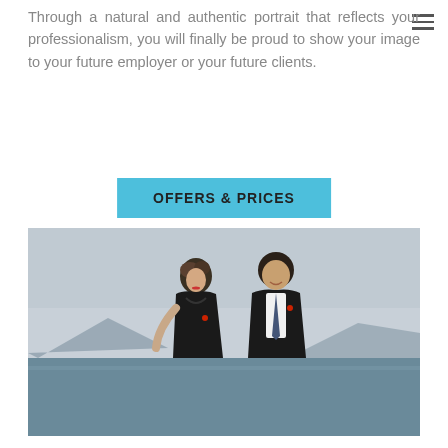Through a natural and authentic portrait that reflects your professionalism, you will finally be proud to show your image to your future employer or your future clients.
OFFERS & PRICES
[Figure (photo): A man and a woman dressed in black formal attire standing outdoors near a lake or sea, with mountains visible in the background. The woman has short curly hair and red lipstick; the man is bald and smiling. Both wear small red pins on their lapels.]